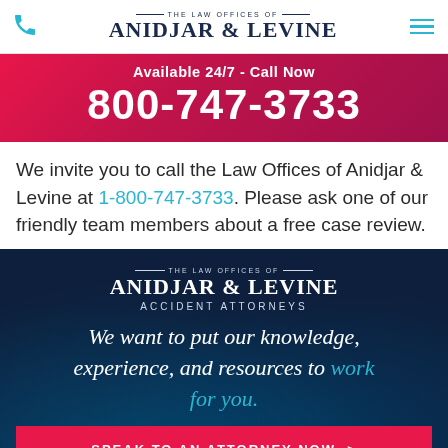The Law Offices of Anidjar & Levine
Available 24/7 - Call Now
800-747-3733
We invite you to call the Law Offices of Anidjar & Levine at 1-800-747-3733. Please ask one of our friendly team members about a free case review.
[Figure (logo): The Law Offices of Anidjar & Levine Accident Attorneys logo on dark blue background with tagline: We want to put our knowledge, experience, and resources to work for you.]
SPEAK TO AN ATTORNEY NOW >